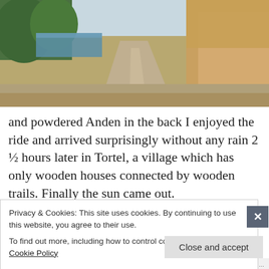[Figure (photo): A gravel road winding through a landscape with trees, a lake or river visible in the background on the left, and a sandy/rocky hillside on the right under a sunny sky.]
and powdered Anden in the back I enjoyed the ride and arrived surprisingly without any rain 2 ½ hours later in Tortel, a village which has only wooden houses connected by wooden trails. Finally the sun came out.
Privacy & Cookies: This site uses cookies. By continuing to use this website, you agree to their use. To find out more, including how to control cookies, see here: Cookie Policy
Close and accept